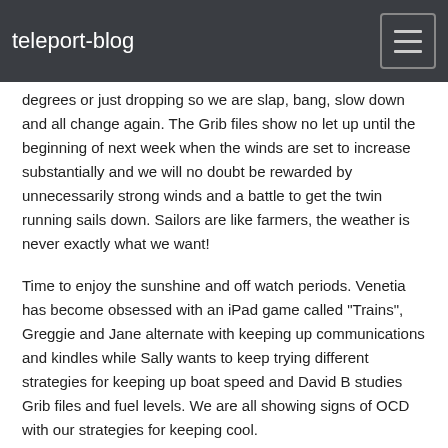teleport-blog
degrees or just dropping so we are slap, bang, slow down and all change again. The Grib files show no let up until the beginning of next week when the winds are set to increase substantially and we will no doubt be rewarded by unnecessarily strong winds and a battle to get the twin running sails down. Sailors are like farmers, the weather is never exactly what we want!
Time to enjoy the sunshine and off watch periods. Venetia has become obsessed with an iPad game called "Trains", Greggie and Jane alternate with keeping up communications and kindles while Sally wants to keep trying different strategies for keeping up boat speed and David B studies Grib files and fuel levels. We are all showing signs of OCD with our strategies for keeping cool.
Lovely pod of dolphins cheer us up this afternoon, with